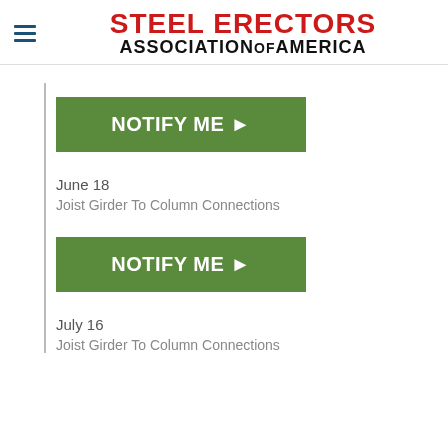STEEL ERECTORS ASSOCIATION OF AMERICA
[Figure (other): Green NOTIFY ME button with arrow]
June 18
Joist Girder To Column Connections
[Figure (other): Green NOTIFY ME button with arrow]
July 16
Joist Girder To Column Connections